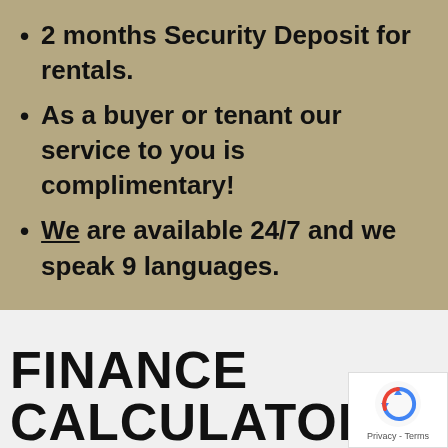2 months Security Deposit for rentals.
As a buyer or tenant our service to you is complimentary!
We are available 24/7 and we speak 9 languages.
FINANCE CALCULATOR